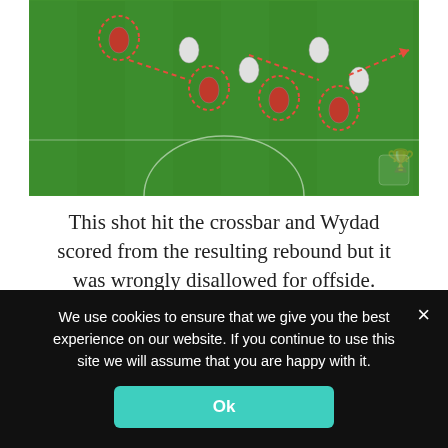[Figure (screenshot): Football match screenshot showing players on a green pitch with red dashed arrow annotations and circles highlighting player positions, overhead tactical view]
This shot hit the crossbar and Wydad scored from the resulting rebound but it was wrongly disallowed for offside.
[Figure (screenshot): Football match broadcast screenshot at 58:39, MCA 0-0 MAC, showing players near goal with red dashed circles highlighting offside positions, TOTAL and 1XBET sponsors visible]
We use cookies to ensure that we give you the best experience on our website. If you continue to use this site we will assume that you are happy with it.